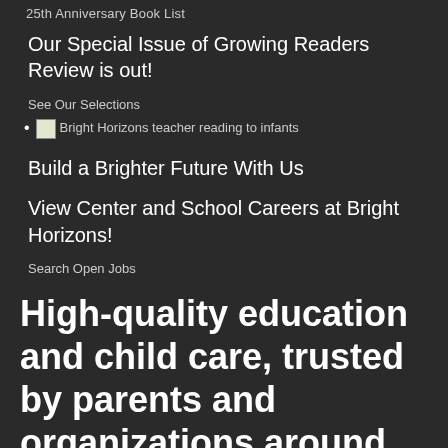25th Anniversary Book List
Our Special Issue of Growing Readers Review is out!
See Our Selections
Bright Horizons teacher reading to infants
Build a Brighter Future With Us
View Center and School Careers at Bright Horizons!
Search Open Jobs
High-quality education and child care, trusted by parents and organizations around the